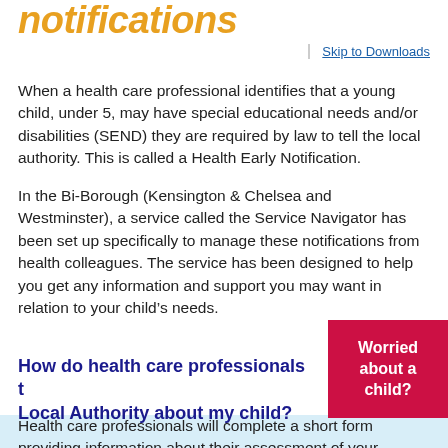notifications
Skip to Downloads
When a health care professional identifies that a young child, under 5, may have special educational needs and/or disabilities (SEND) they are required by law to tell the local authority. This is called a Health Early Notification.
In the Bi-Borough (Kensington & Chelsea and Westminster), a service called the Service Navigator has been set up specifically to manage these notifications from health colleagues. The service has been designed to help you get any information and support you may want in relation to your child's needs.
How do health care professionals tell the Local Authority about my child?
Worried about a child?
Health care professionals will complete a short form providing information about their assessment of your